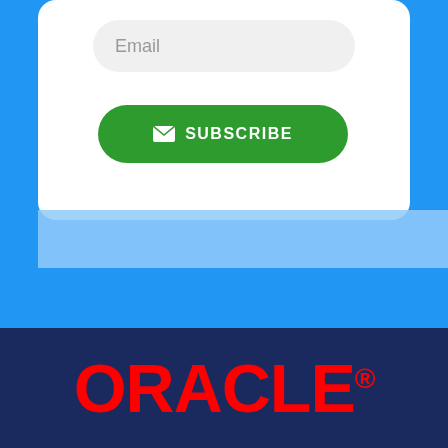[Figure (screenshot): Email subscription form with an email input field and a green SUBSCRIBE button on a white card, set against a blue background]
[Figure (logo): Oracle logo in red text on a dark navy blue background with registered trademark symbol]